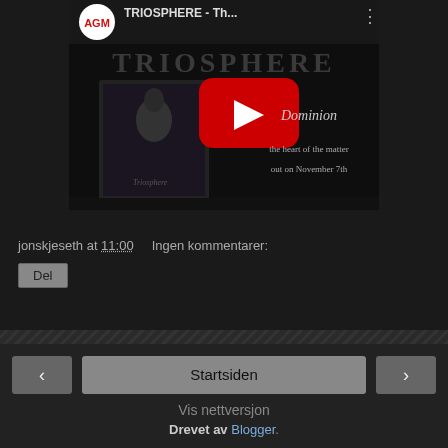[Figure (screenshot): YouTube video thumbnail showing Triosphere band video titled 'TRIOSPHERE - Th...' with AGM logo, play button, Dominion album cover, and text 'the heart of the matter out on November 7th']
jonskjeseth at 11:00    Ingen kommentarer:
Del
‹   Startsiden   ›
Vis nettversjon
Drevet av Blogger.